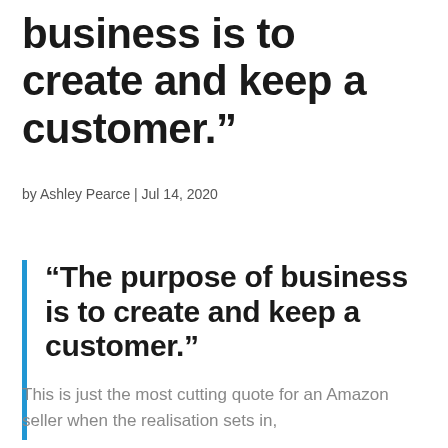business is to create and keep a customer.”
by Ashley Pearce | Jul 14, 2020
“The purpose of business is to create and keep a customer.”
This is just the most cutting quote for an Amazon seller when the realisation sets in,